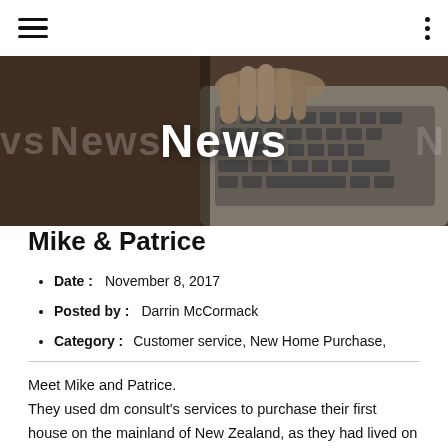Navigation bar with hamburger menu and vertical dots menu
[Figure (photo): Hero banner image showing a hand typing on a laptop keyboard, with the word 'News' displayed prominently in white bold text in the center, and repeated watermark 'News' text in the background.]
Mike & Patrice
Date :    November 8, 2017
Posted by :    Darrin McCormack
Category :   Customer service, New Home Purchase,
Meet Mike and Patrice.
They used dm consult's services to purchase their first house on the mainland of New Zealand, as they had lived on the